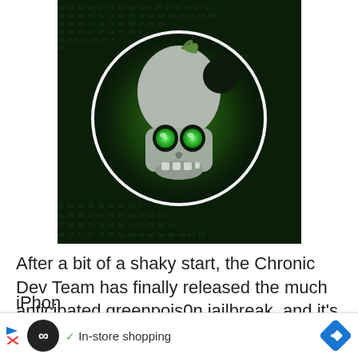[Figure (illustration): Greenpois0n jailbreak logo: a silver skull shaped like the Apple logo with glowing green eyes, set against a dark green background with a white circle border and hex code text overlay.]
After a bit of a shaky start, the Chronic Dev Team has finally released the much anticipated greenpois0n jailbreak, and it's available for download now. Much like the already released limera1n this jailbreak will not jailbreak iPhone
[Figure (screenshot): Advertisement bar at the bottom with a black circle infinity logo, play/close buttons, checkmark, 'In-store shopping' text, and a blue diamond arrow button.]